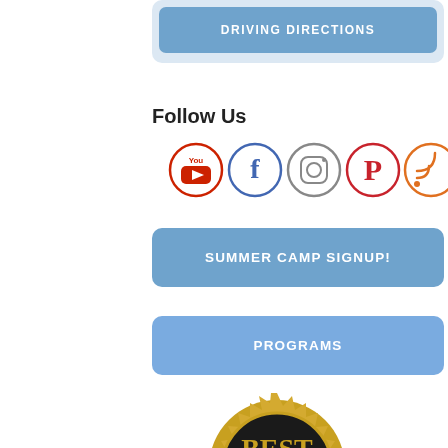[Figure (other): DRIVING DIRECTIONS button with light blue background]
Follow Us
[Figure (other): Social media icons: YouTube, Facebook, Instagram, Pinterest, RSS feed]
[Figure (other): SUMMER CAMP SIGNUP! blue button]
[Figure (other): PROGRAMS blue button]
[Figure (other): Best Workplaces badge/seal - gold and black award emblem]